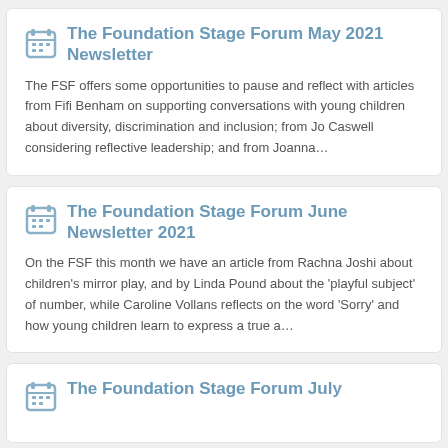The Foundation Stage Forum May 2021 Newsletter
The FSF offers some opportunities to pause and reflect with articles from Fifi Benham on supporting conversations with young children about diversity, discrimination and inclusion; from Jo Caswell considering reflective leadership; and from Joanna...
The Foundation Stage Forum June Newsletter 2021
On the FSF this month we have an article from Rachna Joshi about children's mirror play, and by Linda Pound about the 'playful subject' of number, while Caroline Vollans reflects on the word 'Sorry' and how young children learn to express a true a...
The Foundation Stage Forum July